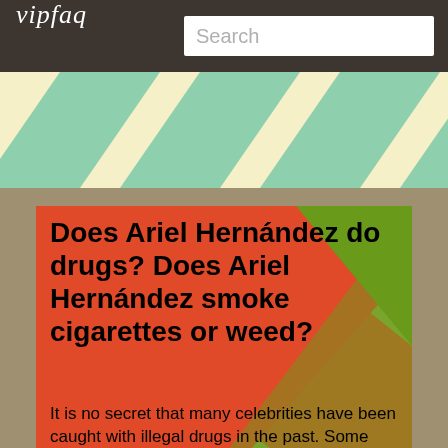vipfaq  Search
[Figure (illustration): Decorative diagonal striped banner with cream/yellow and mint green diagonal stripes on a light yellow background]
Does Ariel Hernández do drugs? Does Ariel Hernández smoke cigarettes or weed?
It is no secret that many celebrities have been caught with illegal drugs in the past. Some even openly admit their drug usuage. Do you think that Ariel Hernández does smoke cigarettes, weed or marijuana?